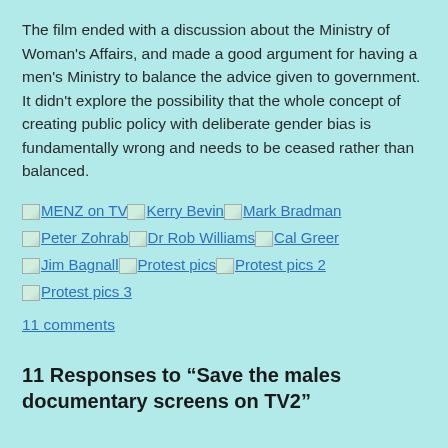The film ended with a discussion about the Ministry of Woman's Affairs, and made a good argument for having a men's Ministry to balance the advice given to government. It didn't explore the possibility that the whole concept of creating public policy with deliberate gender bias is fundamentally wrong and needs to be ceased rather than balanced.
MENZ on TV
Kerry Bevin
Mark Bradman
Peter Zohrab
Dr Rob Williams
Cal Greer
Jim Bagnall
Protest pics
Protest pics 2
Protest pics 3
11 comments
11 Responses to “Save the males documentary screens on TV2”